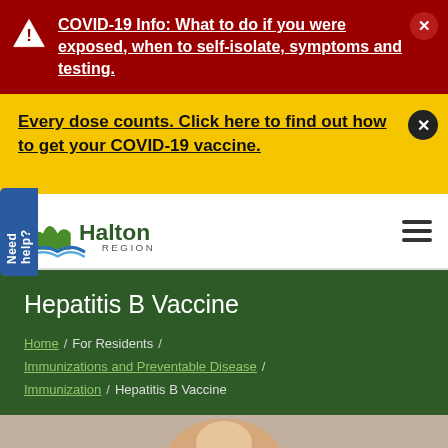COVID-19 Info: What to do if you were exposed, when to self-isolate, symptoms and testing.
Every dose counts. Click here to find out how to get your COVID-19 vaccine.
[Figure (logo): Halton Region logo with green hills and blue wave graphic]
Hepatitis B Vaccine
Home / For Residents / Immunizations and Preventable Disease / Immunization / Hepatitis B Vaccine
[Figure (photo): Partial photo of a person's face at the bottom of the page]